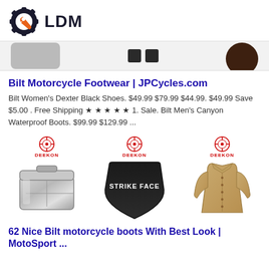[Figure (logo): LDM logo with gear/wrench icon in dark navy and orange, followed by bold text LDM]
[Figure (photo): Strip of partial product images: grey rounded shape on left, two dark squares in center, dark brown circular shape on right]
Bilt Motorcycle Footwear | JPCycles.com
Bilt Women's Dexter Black Shoes. $49.99 $79.99 $44.99. $49.99 Save $5.00 . Free Shipping ★ ★ ★ ★ ★ 1. Sale. Bilt Men's Canyon Waterproof Boots. $99.99 $129.99 ...
[Figure (photo): Three product images each with DEEKON logo badge: left shows a metal lunch box/canteen, center shows a black ballistic plate with STRIKE FACE text, right shows a tan/khaki long military coat]
62 Nice Bilt motorcycle boots With Best Look | MotoSport ...